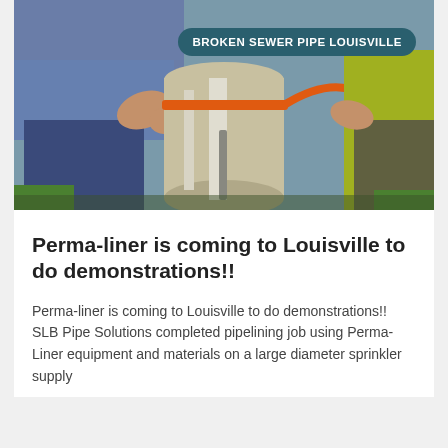[Figure (photo): Workers handling a large pipe during a pipe lining demonstration. One worker in a blue shirt and jeans, another in a yellow/green safety vest. An orange strap is visible around the pipe. The image has a label overlay reading 'BROKEN SEWER PIPE LOUISVILLE'.]
Perma-liner is coming to Louisville to do demonstrations!!
Perma-liner is coming to Louisville to do demonstrations!! SLB Pipe Solutions completed pipelining job using Perma-Liner equipment and materials on a large diameter sprinkler supply